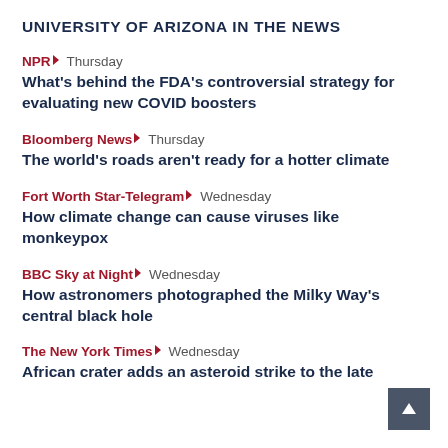UNIVERSITY OF ARIZONA IN THE NEWS
NPR  Thursday
What's behind the FDA's controversial strategy for evaluating new COVID boosters
Bloomberg News  Thursday
The world's roads aren't ready for a hotter climate
Fort Worth Star-Telegram  Wednesday
How climate change can cause viruses like monkeypox
BBC Sky at Night  Wednesday
How astronomers photographed the Milky Way's central black hole
The New York Times  Wednesday
African crater adds an asteroid strike to the late